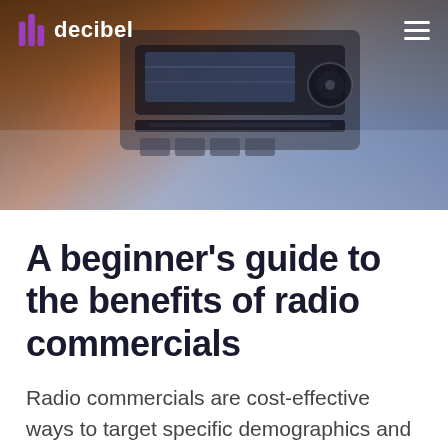[Figure (photo): Car radio dashboard close-up photo with brownish-orange and blue-grey tones, used as header background image]
decibel
A beginner’s guide to the benefits of radio commercials
Radio commercials are cost-effective ways to target specific demographics and raise your brand awareness. Here’s how to create a